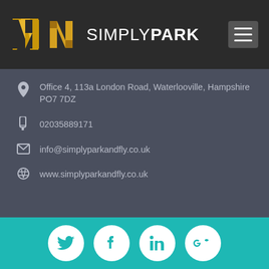SIMPLYPARK
Office 4, 113a London Road, Waterlooville, Hampshire PO7 7DZ
02035889171
info@simplyparkandfly.co.uk
www.simplyparkandfly.co.uk
[Figure (infographic): Social media icons: Twitter, Facebook, LinkedIn, Google+ on teal background]